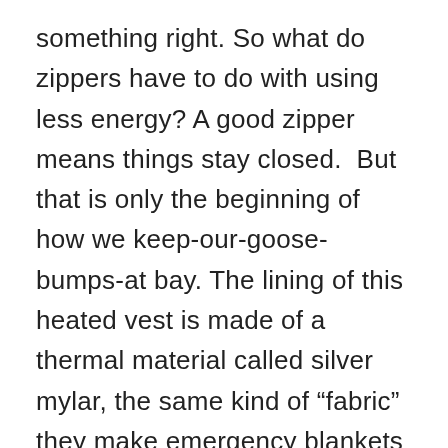something right. So what do zippers have to do with using less energy? A good zipper means things stay closed.  But that is only the beginning of how we keep-our-goose-bumps-at bay. The lining of this heated vest is made of a thermal material called silver mylar, the same kind of “fabric” they make emergency blankets out of. With the 10000 m/Ah battery, you can enjoy up to an amazing 11 hours before the next charge.
On both sides of the vest, there are pockets. Not just pockets, either, pockets with zippers. After all, you don’t want to lose your phone